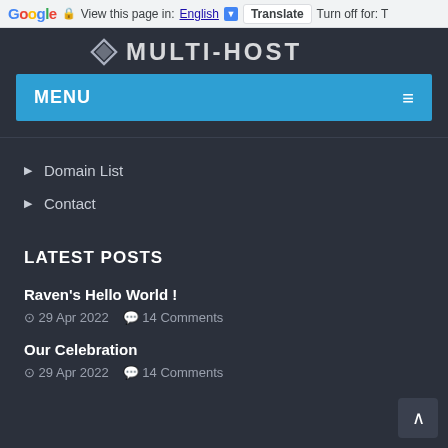Google | View this page in: English [▼] | Translate | Turn off for: T
[Figure (logo): Multi-Host website logo with diamond icon and text MULTI-HOST]
MENU ≡
▶ Domain List
▶ Contact
LATEST POSTS
Raven's Hello World !
⊙ 29 Apr 2022  💬 14 Comments
Our Celebration
⊙ 29 Apr 2022  💬 14 Comments